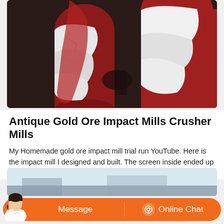[Figure (photo): Close-up photograph of a red metal auger/screw conveyor mechanism coated with white powdery material (crushed ore or mineral powder), showing the spiral flighting packed with white powder against the red painted metal surface.]
Antique Gold Ore Impact Mills Crusher Mills
My Homemade gold ore impact mill trial run YouTube. Here is the impact mill I designed and built. The screen inside ended up getting clogged inside and was litterally half full of product. It
[Figure (photo): Partial photograph at the bottom of the page showing an industrial or outdoor scene, partially obscured by the chat overlay bar.]
Message
Online Chat